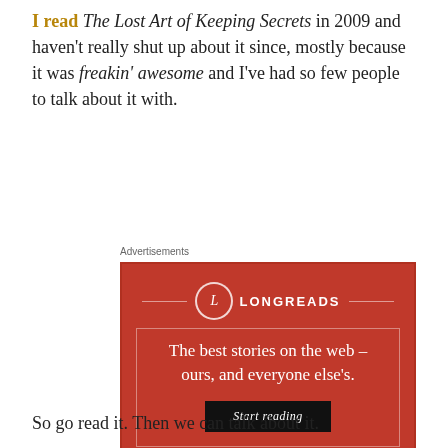I read The Lost Art of Keeping Secrets in 2009 and haven't really shut up about it since, mostly because it was freakin' awesome and I've had so few people to talk about it with.
Advertisements
[Figure (other): Longreads advertisement on red background with logo circle, decorative border, tagline 'The best stories on the web – ours, and everyone else's.' and a black 'Start reading' button.]
So go read it. Then we can talk about it.